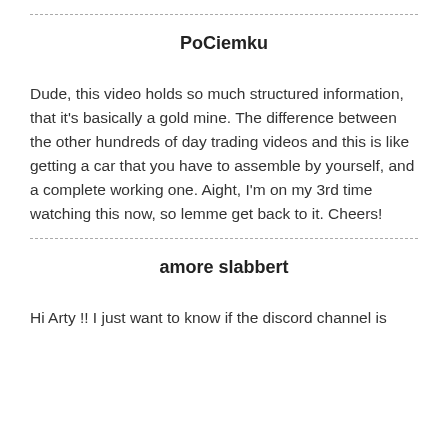PoCiemku
Dude, this video holds so much structured information, that it's basically a gold mine. The difference between the other hundreds of day trading videos and this is like getting a car that you have to assemble by yourself, and a complete working one. Aight, I'm on my 3rd time watching this now, so lemme get back to it. Cheers!
amore slabbert
Hi Arty !! I just want to know if the discord channel is